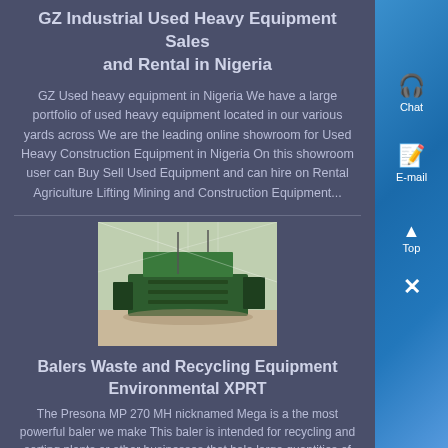GZ Industrial Used Heavy Equipment Sales and Rental in Nigeria
GZ Used heavy equipment in Nigeria We have a large portfolio of used heavy equipment located in our various yards across We are the leading online showroom for Used Heavy Construction Equipment in Nigeria On this showroom user can Buy Sell Used Equipment and can hire on Rental Agriculture Lifting Mining and Construction Equipment...
[Figure (photo): Photo of large green industrial equipment/baler in an outdoor yard or warehouse setting]
Balers Waste and Recycling Equipment Environmental XPRT
The Presona MP 270 MH nicknamed Mega is a the most powerful baler we make This baler is intended for recycling and sorting plants or other businesses that bale large quantities of material It is built...